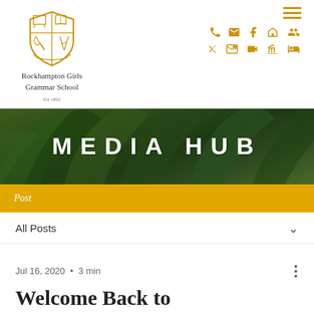[Figure (logo): Rockhampton Girls Grammar School shield/crest logo in gold/yellow outline]
Rockhampton Girls Grammar School
Est 1892
[Figure (infographic): Navigation icons row: hamburger menu, phone, email, facebook, building, people, scissors/X, outlook, video, bank/government, bed icons — all in gold/amber color]
[Figure (photo): Banner image with dark green tropical plant leaves background, large white bold text reading MEDIA HUB, and a gold/amber bar below with italic white text reading Post]
Post
All Posts
Jul 16, 2020  •  3 min
Welcome Back to